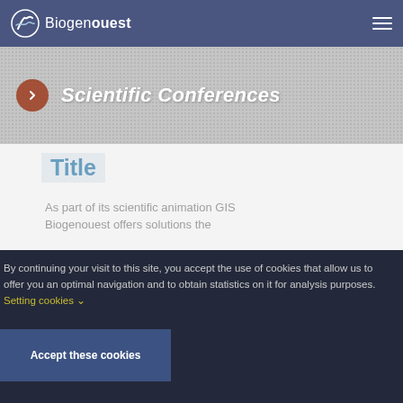Biogenouest
Scientific Conferences
Title
As part of its scientific animation GIS Biogenouest offers solutions the
By continuing your visit to this site, you accept the use of cookies that allow us to offer you an optimal navigation and to obtain statistics on it for analysis purposes. Setting cookies
Accept these cookies